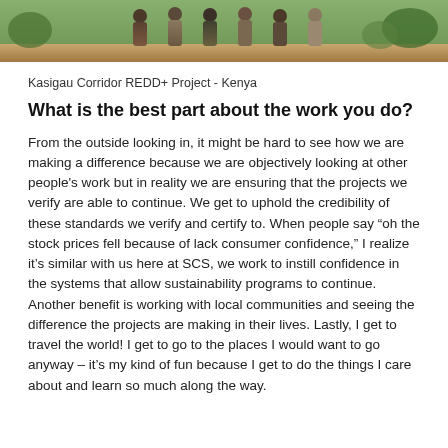[Figure (photo): Photo strip showing a group of people standing together outdoors, with green vegetation visible in the background.]
Kasigau Corridor REDD+ Project - Kenya
What is the best part about the work you do?
From the outside looking in, it might be hard to see how we are making a difference because we are objectively looking at other people's work but in reality we are ensuring that the projects we verify are able to continue. We get to uphold the credibility of these standards we verify and certify to. When people say "oh the stock prices fell because of lack consumer confidence," I realize it's similar with us here at SCS, we work to instill confidence in the systems that allow sustainability programs to continue.
Another benefit is working with local communities and seeing the difference the projects are making in their lives. Lastly, I get to travel the world! I get to go to the places I would want to go anyway – it's my kind of fun because I get to do the things I care about and learn so much along the way.